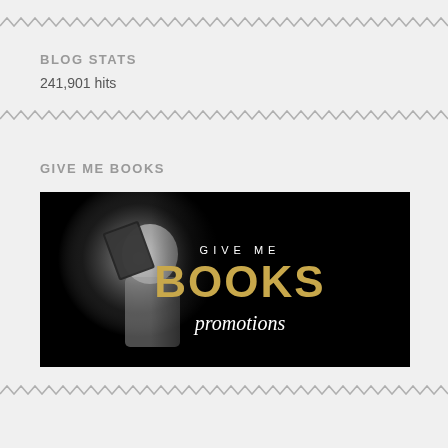[Figure (illustration): Wavy zigzag decorative divider line at top]
BLOG STATS
241,901 hits
[Figure (illustration): Wavy zigzag decorative divider line in middle]
GIVE ME BOOKS
[Figure (photo): Give Me Books Promotions banner image – black and white photo of person reading a book on the left; on the right side text: GIVE ME / BOOKS (in gold) / promotions (in white italic) on black background]
[Figure (illustration): Wavy zigzag decorative divider line at bottom]